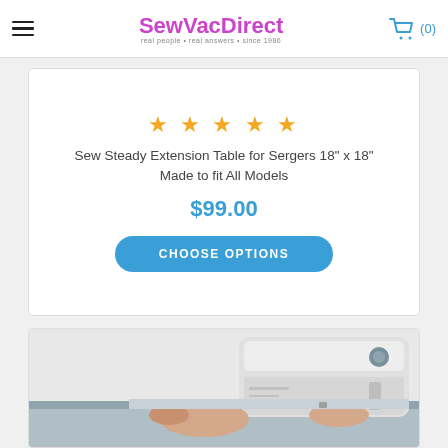SewVacDirect - real people • real answers • since 1986
★★★★★
Sew Steady Extension Table for Sergers 18" x 18" Made to fit All Models
$99.00
CHOOSE OPTIONS
[Figure (photo): Photo of a white serger/sewing machine on an extension table, with a person's hands visible]